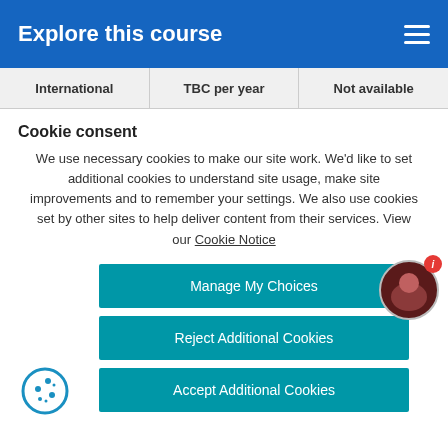Explore this course
| International | TBC per year | Not available |
| --- | --- | --- |
Cookie consent
We use necessary cookies to make our site work. We’d like to set additional cookies to understand site usage, make site improvements and to remember your settings. We also use cookies set by other sites to help deliver content from their services. View our Cookie Notice
Manage My Choices
Reject Additional Cookies
Accept Additional Cookies